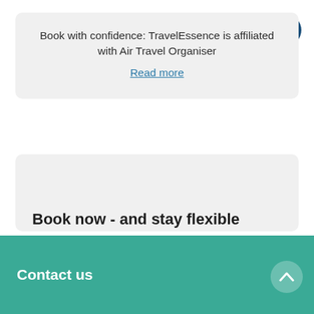Book with confidence: TravelEssence is affiliated with Air Travel Organiser
Read more
Book now - and stay flexible
If you book a holiday to Australia and New
Contact us